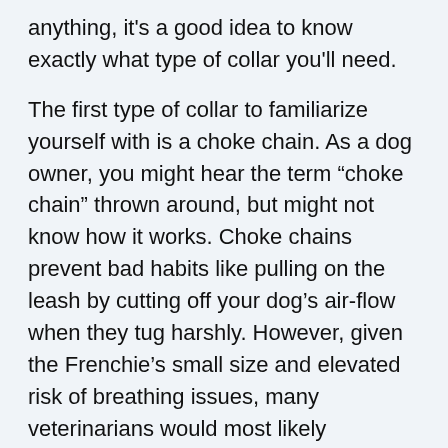anything, it's a good idea to know exactly what type of collar you'll need.
The first type of collar to familiarize yourself with is a choke chain. As a dog owner, you might hear the term “choke chain” thrown around, but might not know how it works. Choke chains prevent bad habits like pulling on the leash by cutting off your dog’s air-flow when they tug harshly. However, given the Frenchie’s small size and elevated risk of breathing issues, many veterinarians would most likely recommend against using a choke chain with this breed.